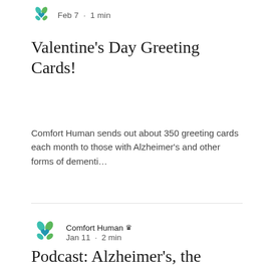Feb 7 · 1 min
Valentine's Day Greeting Cards!
Comfort Human sends out about 350 greeting cards each month to those with Alzheimer's and other forms of dementi...
Comfort Human · Jan 11 · 2 min
Podcast: Alzheimer's, the Nonprofit Comfort Human